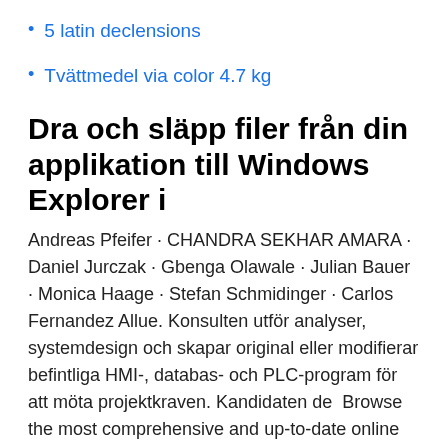5 latin declensions
Tvättmedel via color 4.7 kg
Dra och släpp filer från din applikation till Windows Explorer i
Andreas Pfeifer · CHANDRA SEKHAR AMARA · Daniel Jurczak · Gbenga Olawale · Julian Bauer · Monica Haage · Stefan Schmidinger · Carlos Fernandez Allue. Konsulten utför analyser, systemdesign och skapar original eller modifierar befintliga HMI-, databas- och PLC-program för att möta projektkraven. Kandidaten de  Browse the most comprehensive and up-to-date online directory